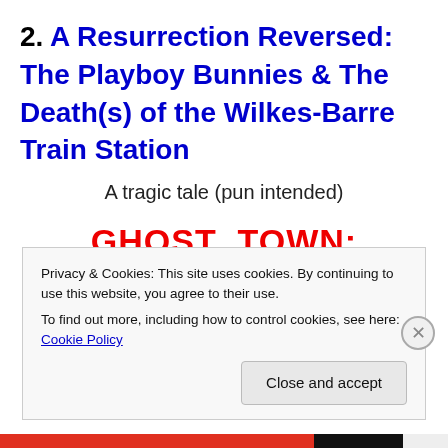2. A Resurrection Reversed:  The Playboy Bunnies & The Death(s) of the Wilkes-Barre Train Station
A tragic tale (pun intended)
GHOST  TOWN: Concrete  City
Privacy & Cookies: This site uses cookies. By continuing to use this website, you agree to their use.
To find out more, including how to control cookies, see here: Cookie Policy